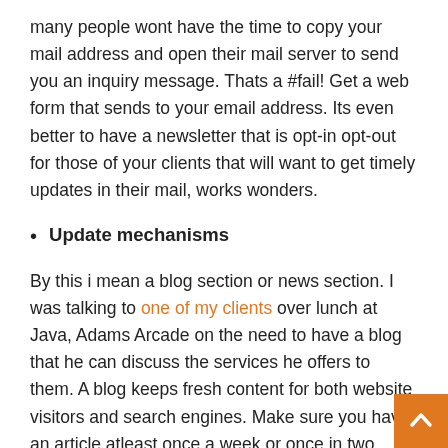many people wont have the time to copy your mail address and open their mail server to send you an inquiry message. Thats a #fail! Get a web form that sends to your email address. Its even better to have a newsletter that is opt-in opt-out for those of your clients that will want to get timely updates in their mail, works wonders.
Update mechanisms
By this i mean a blog section or news section. I was talking to one of my clients over lunch at Java, Adams Arcade on the need to have a blog that he can discuss the services he offers to them. A blog keeps fresh content for both website visitors and search engines. Make sure you have an article atleast once a week or once in two weeks so that they do not lose touch with you. Anyone told you that blog articles get more ranking that the actual websites themselves? Well, now you